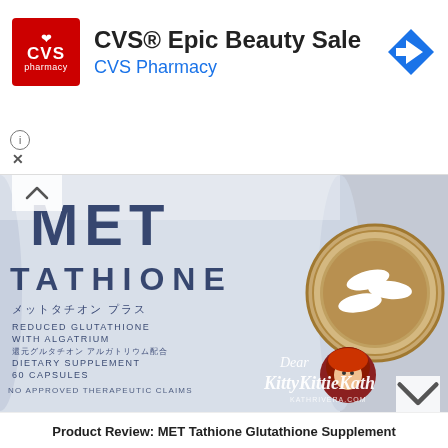[Figure (screenshot): CVS Pharmacy advertisement banner with red CVS logo, title 'CVS® Epic Beauty Sale', subtitle 'CVS Pharmacy', and a blue diamond arrow icon on the right]
[Figure (photo): Product photo of MET Tathione Glutathione Supplement bottle (frosted blue-white) lying on its side with the cap open showing white capsules inside. The bottle label reads: MET TATHIONE, Japanese text (メットタチオン プラス), REDUCED GLUTATHIONE WITH ALGATRIUM, 還元グルタチオン アルガトリウム配合, DIETARY SUPPLEMENT, 60 CAPSULES, NO APPROVED THERAPEUTIC CLAIMS. A 'Dear KittyKittieKath' blogger watermark logo is visible at bottom right.]
Product Review: MET Tathione Glutathione Supplement